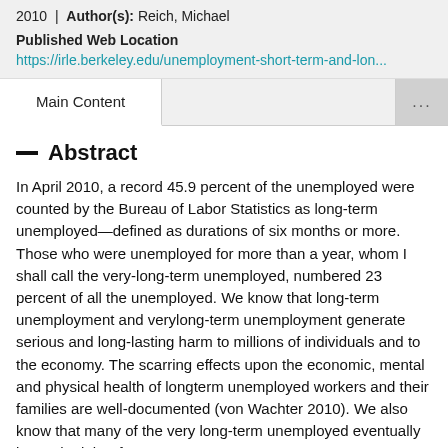2010 | Author(s): Reich, Michael
Published Web Location
https://irle.berkeley.edu/unemployment-short-term-and-lon...
Abstract
In April 2010, a record 45.9 percent of the unemployed were counted by the Bureau of Labor Statistics as long-term unemployed—defined as durations of six months or more. Those who were unemployed for more than a year, whom I shall call the very-long-term unemployed, numbered 23 percent of all the unemployed. We know that long-term unemployment and verylong-term unemployment generate serious and long-lasting harm to millions of individuals and to the economy. The scarring effects upon the economic, mental and physical health of longterm unemployed workers and their families are well-documented (von Wachter 2010). We also know that many of the very long-term unemployed eventually leave the labor force